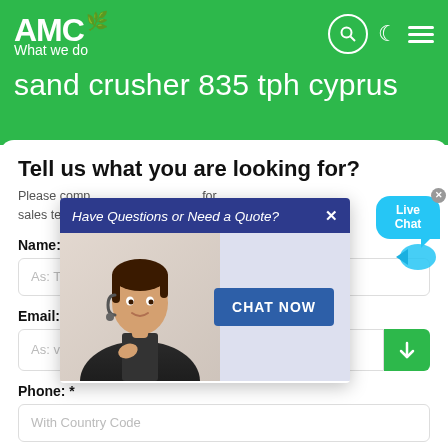AMC — What we do
sand crusher 835 tph cyprus
Tell us what you are looking for?
Please complete the form below, for free and our sales team will contact you shortly with our best prices.
Name: *
As: Tom
Email: *
As: vip@shanghaimeilan.com
Phone: *
With Country Code
[Figure (screenshot): Popup overlay with blue header 'Have Questions or Need a Quote?' with a customer service agent image and a 'CHAT NOW' button. A 'Live Chat' speech bubble appears in the top-right of the popup.]